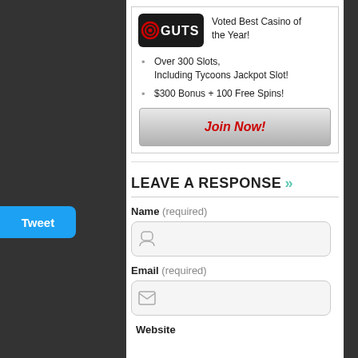[Figure (logo): GUTS casino logo - black rounded rectangle with red target/eye icon and white GUTS text]
Voted Best Casino of the Year!
Over 300 Slots, Including Tycoons Jackpot Slot!
$300 Bonus + 100 Free Spins!
Join Now!
LEAVE A RESPONSE >>
Name (required)
Email (required)
Website